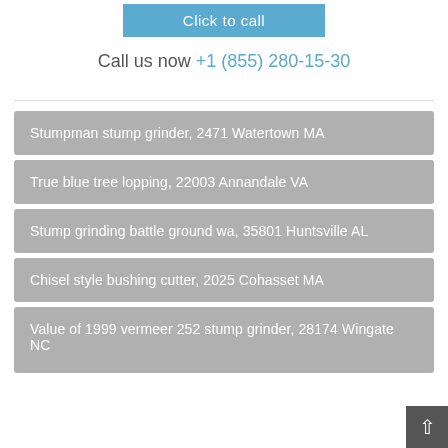[Figure (other): Blue 'Click to call' button]
Call us now +1 (855) 280-15-30
Stumpman stump grinder, 2471 Watertown MA
True blue tree lopping, 22003 Annandale VA
Stump grinding battle ground wa, 35801 Huntsville AL
Chisel style bushing cutter, 2025 Cohasset MA
Value of 1999 vermeer 252 stump grinder, 28174 Wingate NC